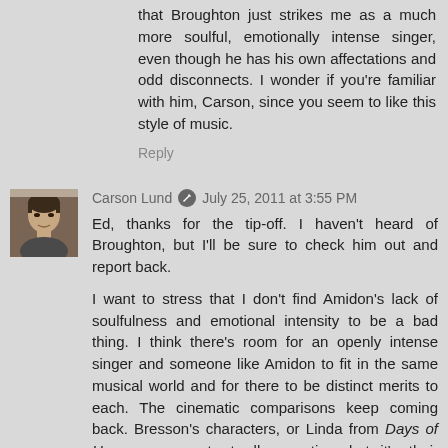that Broughton just strikes me as a much more soulful, emotionally intense singer, even though he has his own affectations and odd disconnects. I wonder if you're familiar with him, Carson, since you seem to like this style of music.
Reply
[Figure (photo): Small avatar photo of a young man with short hair, brownish tones]
Carson Lund  July 25, 2011 at 3:55 PM
Ed, thanks for the tip-off. I haven't heard of Broughton, but I'll be sure to check him out and report back.

I want to stress that I don't find Amidon's lack of soulfulness and emotional intensity to be a bad thing. I think there's room for an openly intense singer and someone like Amidon to fit in the same musical world and for there to be distinct merits to each. The cinematic comparisons keep coming back. Bresson's characters, or Linda from Days of Heaven, are not at all evocative, but it's their blankness and understatement that is so fascinating against the sweep of the cinematography, or in this case, the music. So what you two see as the low point of the